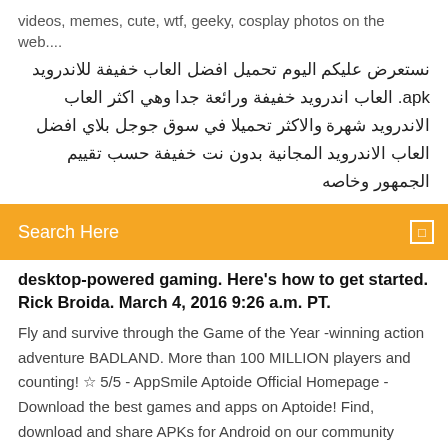videos, memes, cute, wtf, geeky, cosplay photos on the web....
نستعرض عليكم اليوم تحميل افضل العاب خفيفة للاندرويد apk. العاب اندرويد خفيفة ورائعة جدا وهي اكثر العاب الاندرويد شهرة والاكثر تحميلا في سوق جوجل بلاي افضل العاب الاندرويد المجانية بدون نت خفيفة حسب تقييم الجمهور وخاصه
Search Here
desktop-powered gaming. Here's how to get started. Rick Broida. March 4, 2016 9:26 a.m. PT.
Fly and survive through the Game of the Year -winning action adventure BADLAND. More than 100 MILLION players and counting! ☆ 5/5 - AppSmile Aptoide Official Homepage - Download the best games and apps on Aptoide! Find, download and share APKs for Android on our community driven platform. Download nu Game Dev Tycoon voor Android via Aptoide! Geen extra kosten. Gebruikersbeoordeling voor Game Dev Tycoon: 3.94. 25 april 2019 Dat betekent dat je op je Android-smartphone